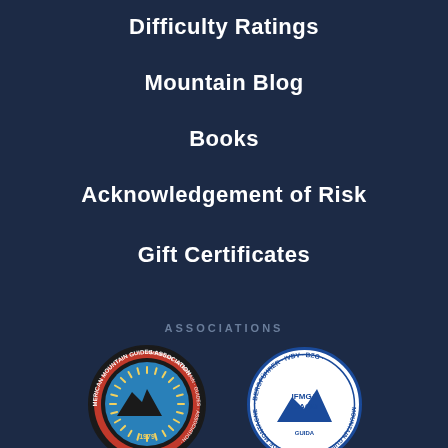Difficulty Ratings
Mountain Blog
Books
Acknowledgement of Risk
Gift Certificates
ASSOCIATIONS
[Figure (logo): American Mountain Guides Association circular logo with red and black border, teal interior showing mountain silhouette, dated 1979]
[Figure (logo): IVBV IFMGA UIAGM circular logo with blue border, white interior showing mountain peaks, text reading Bergführer Mountain Guide Guide de Montagne Guida]